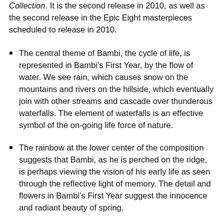Collection. It is the second release in 2010, as well as the second release in the Epic Eight masterpieces scheduled to release in 2010.
The central theme of Bambi, the cycle of life, is represented in Bambi's First Year, by the flow of water. We see rain, which causes snow on the mountains and rivers on the hillside, which eventually join with other streams and cascade over thunderous waterfalls. The element of waterfalls is an effective symbol of the on-going life force of nature.
The rainbow at the lower center of the composition suggests that Bambi, as he is perched on the ridge, is perhaps viewing the vision of his early life as seen through the reflective light of memory. The detail and flowers in Bambi's First Year suggest the innocence and radiant beauty of spring.
Thom has pictured Bambi three times in the image,